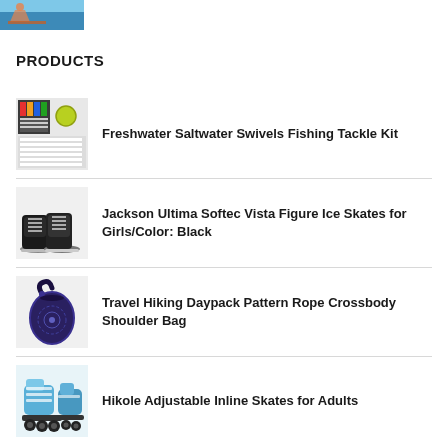[Figure (photo): Top cropped photo of a person on a paddleboard on water]
PRODUCTS
Freshwater Saltwater Swivels Fishing Tackle Kit
Jackson Ultima Softec Vista Figure Ice Skates for Girls/Color: Black
Travel Hiking Daypack Pattern Rope Crossbody Shoulder Bag
Hikole Adjustable Inline Skates for Adults